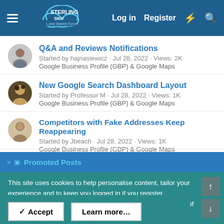Sterling Sky Local Search Forum — Log in  Register
Q&A and Reviews Notifications — Started by hajnasiewicz · Jul 28, 2022 · Views: 2K — Google Business Profile (GBP) & Google Maps
New Google Search Dashboard Layout — Started by Professor M · Jul 28, 2022 · Views: 1K — Google Business Profile (GBP) & Google Maps
Competitors with Fake Addresses Keep Reappearing — Started by Jbeach · Jul 28, 2022 · Views: 1K — Google Business Profile (GBP) & Google Maps
Promoted Posts
This site uses cookies to help personalise content, tailor your experience and to keep you logged in if you register.
By continuing to use this site, you are consenting to our use of cookies.
✓ Accept    Learn more…